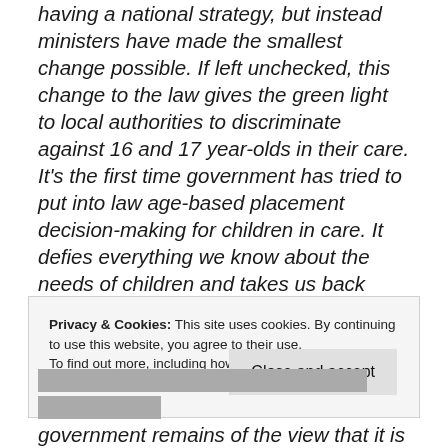having a national strategy, but instead ministers have made the smallest change possible. If left unchecked, this change to the law gives the green light to local authorities to discriminate against 16 and 17 year-olds in their care. It’s the first time government has tried to put into law age-based placement decision-making for children in care. It defies everything we know about the needs of children and takes us back decades.”
Privacy & Cookies: This site uses cookies. By continuing to use this website, you agree to their use. To find out more, including how to control cookies, see here: Our Privacy Policy
[redacted] age-based discrimination, yet the government remains of the view that it is